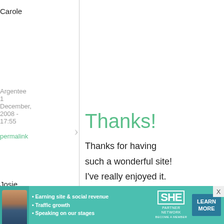Carole
Argentee
1
December,
2008 -
17:55
permalink
Thanks!
Thanks for having such a wonderful site! I've really enjoyed it.

Argentee - USA
Josie
1
Happy
[Figure (other): Advertisement banner for SHE Partner Network with woman photo, bullet points about earning site & social revenue, traffic growth, speaking on our stages, SHE logo, and LEARN MORE button]